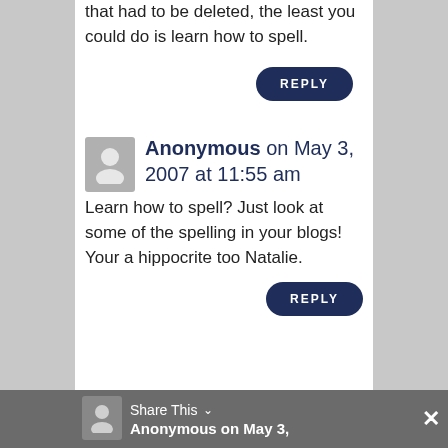that had to be deleted, the least you could do is learn how to spell.
REPLY
Anonymous on May 3, 2007 at 11:55 am
Learn how to spell? Just look at some of the spelling in your blogs!
Your a hippocrite too Natalie.
REPLY
Share This
Anonymous on May 3,